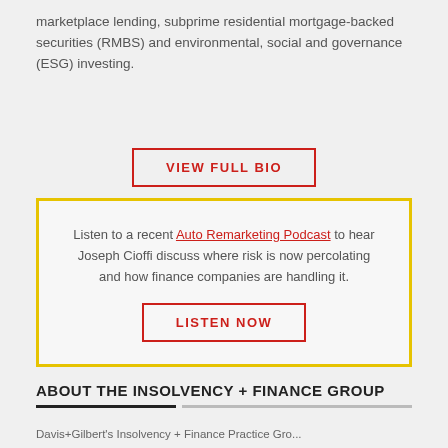marketplace lending, subprime residential mortgage-backed securities (RMBS) and environmental, social and governance (ESG) investing.
VIEW FULL BIO
Listen to a recent Auto Remarketing Podcast to hear Joseph Cioffi discuss where risk is now percolating and how finance companies are handling it.
LISTEN NOW
ABOUT THE INSOLVENCY + FINANCE GROUP
Davis+Gilbert's Insolvency + Finance Practice Gro...